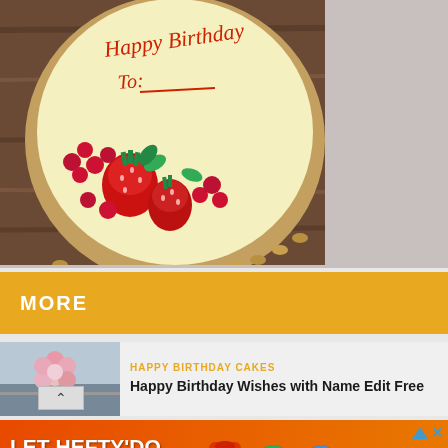[Figure (photo): A birthday cheesecake topped with 'Happy Birthday To:' written in red icing, decorated with fresh strawberries, red currants, and mint leaves, in a fluted tart crust on a wooden surface.]
MORE
[Figure (photo): Thumbnail image of a floral arrangement or decorated cake for the article preview.]
HAPPY BIRTHDAY CAKES
Happy Birthday Wishes with Name Edit Free
[Figure (other): Advertisement banner: 'LET HEFTY DO THE DISHES' with Hefty dish soap products and a 'SHOP NOW' button. © 2022 Reynolds Consumer Products LLC]